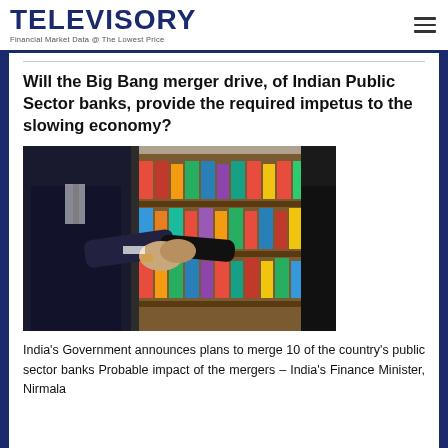TELEVISORY — Financial Market Data @ The Lowest Price
Will the Big Bang merger drive, of Indian Public Sector banks, provide the required impetus to the slowing economy?
[Figure (photo): Two businessmen in suits shaking hands in front of a bookshelf with colourful binders/folders.]
India's Government announces plans to merge 10 of the country's public sector banks Probable impact of the mergers – India's Finance Minister, Nirmala